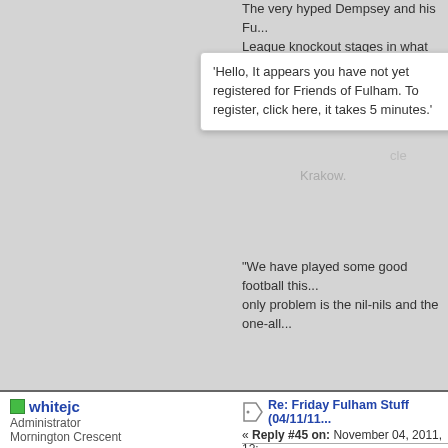The very hyped Dempsey and his... League knockout stages in what was a te...
'Hello, It appears you have not yet registered for Friends of Fulham. To register, click here, it takes 5 minutes.'
"We have played some good football this... only problem is the nil-nils and the one-all...
"Even last week if we had won [against E... 10. You could say we were very efficient b... chances and we score one goal and toda...
http://www.footymad.net/football-news/dempsey_revenge_not_the_spur_3...
whitejc
Administrator
Mornington Crescent
Re: Friday Fulham Stuff (04/11/11... « Reply #45 on: November 04, 2011, 12:... PM »
Schwarzer: Spurs is a big...